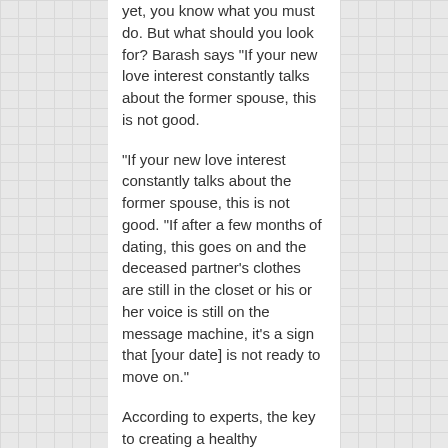yet, you know what you must do. But what should you look for? Barash says "If your new love interest constantly talks about the former spouse, this is not good.
"If your new love interest constantly talks about the former spouse, this is not good. "If after a few months of dating, this goes on and the deceased partner's clothes are still in the closet or his or her voice is still on the message machine, it's a sign that [your date] is not ready to move on."
According to experts, the key to creating a healthy relationship is " is to manage your own emotions while giving your date some time to manage his or hers". It's definitely a delicate balancing act, but it's not impossible. Barash says "The stages of grieving are finite, and